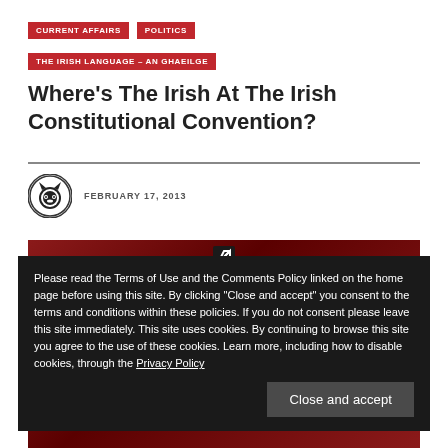CURRENT AFFAIRS   POLITICS   THE IRISH LANGUAGE – AN GHAEILGE
Where's The Irish At The Irish Constitutional Convention?
FEBRUARY 17, 2013
[Figure (photo): Red background image partially visible behind cookie consent overlay]
Please read the Terms of Use and the Comments Policy linked on the home page before using this site. By clicking "Close and accept" you consent to the terms and conditions within these policies. If you do not consent please leave this site immediately. This site uses cookies. By continuing to browse this site you agree to the use of these cookies. Learn more, including how to disable cookies, through the Privacy Policy